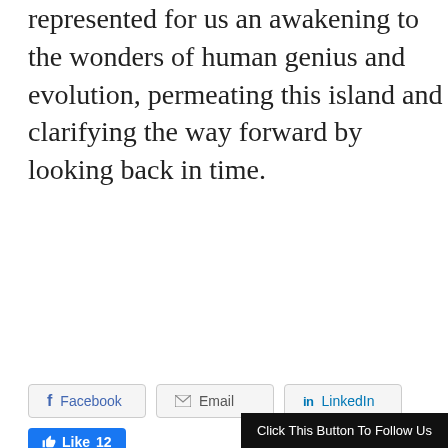represented for us an awakening to the wonders of human genius and evolution, permeating this island and clarifying the way forward by looking back in time.
[Figure (screenshot): Social share buttons row: Facebook, Email, LinkedIn buttons with icons; Like pill button showing Like 12; Share this label; Twitter, Facebook, Email circle icon buttons; Like this label; Loading... text; Click This Button To Follow Us black button]
Loading...
Click This Button To Follow Us